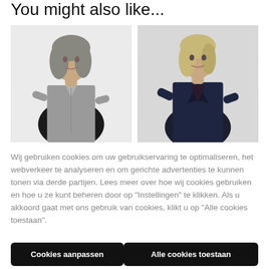You might also like...
[Figure (photo): Woman in grey silk button-up shirt, standing against white background]
[Figure (photo): Woman in dark navy outfit, standing against light grey background]
Wij gebruiken cookies om uw gebruikservaring te optimaliseren, het webverkeer te analyseren en om gerichte advertenties te kunnen tonen via derde partijen. Lees meer over hoe wij cookies gebruiken en hoe u ze kunt beheren door op "Instellingen" te klikken. Als u akkoord gaat met ons gebruik van cookies, klikt u op "Alle cookies toestaan".
Cookies aanpassen
Alle cookies toestaan